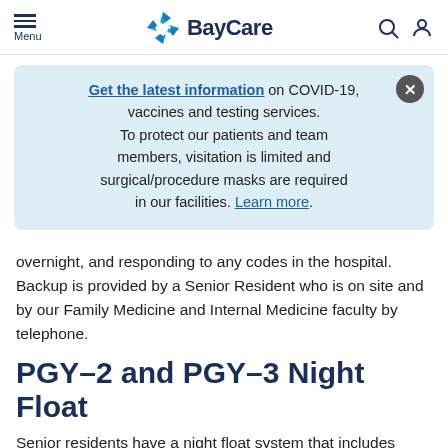Menu | BayCare
Get the latest information on COVID-19, vaccines and testing services. To protect our patients and team members, visitation is limited and surgical/procedure masks are required in our facilities. Learn more.
overnight, and responding to any codes in the hospital. Backup is provided by a Senior Resident who is on site and by our Family Medicine and Internal Medicine faculty by telephone.
PGY–2 and PGY–3 Night Float
Senior residents have a night float system that includes three one week blocks for the entire year. Night float